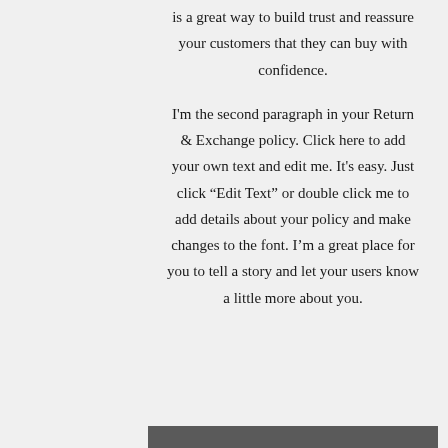is a great way to build trust and reassure your customers that they can buy with confidence.
I'm the second paragraph in your Return & Exchange policy. Click here to add your own text and edit me. It's easy. Just click “Edit Text” or double click me to add details about your policy and make changes to the font. I’m a great place for you to tell a story and let your users know a little more about you.